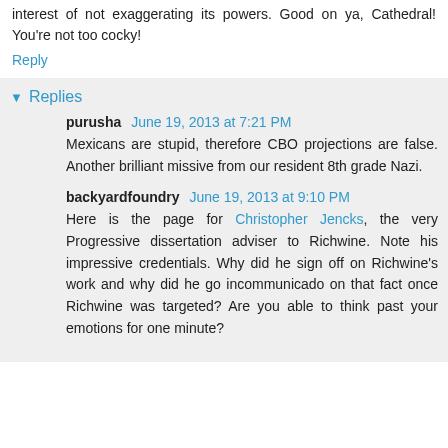interest of not exaggerating its powers. Good on ya, Cathedral! You're not too cocky!
Reply
Replies
purusha  June 19, 2013 at 7:21 PM
Mexicans are stupid, therefore CBO projections are false. Another brilliant missive from our resident 8th grade Nazi.
backyardfoundry  June 19, 2013 at 9:10 PM
Here is the page for Christopher Jencks, the very Progressive dissertation adviser to Richwine. Note his impressive credentials. Why did he sign off on Richwine's work and why did he go incommunicado on that fact once Richwine was targeted? Are you able to think past your emotions for one minute?